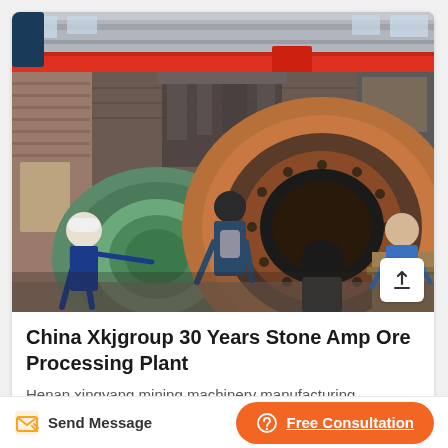[Figure (photo): Industrial mining facility interior showing a large ball mill machine. Several workers/visitors are inspecting the equipment. A red overhead crane is visible. The facility has brick walls and natural light from windows.]
China Xkjgroup 30 Years Stone Amp Ore Processing Plant
Henan xingyang mining machinery manufacturing
Send Message
Free Consultation